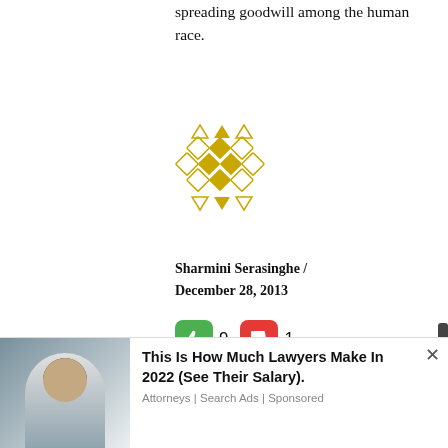spreading goodwill among the human race.
[Figure (logo): Golden/yellow decorative diamond and triangle pattern logo/avatar icon]
Sharmini Serasinghe / December 28, 2013
[Figure (infographic): Thumbs up icon (green) with count 9, thumbs down icon (red) with count 1]
Dear Dr. Adikaram,
I too share similar views as you on this subject.
For instance in Sri Lanka, if you take a Sinhalese, Tamil and a Muslim dressed in the
[Figure (photo): Advertisement banner: photo of a woman in professional attire, with text 'This Is How Much Lawyers Make In 2022 (See Their Salary).' and subtext 'Attorneys | Search Ads | Sponsored']